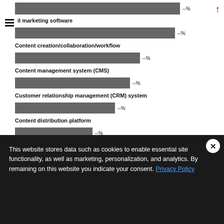[Figure (bar-chart): Content marketing tools/technologies used]
Note: n=520
Source: ----------------------------
263270   eMarketer | insiderintelligence.com
This website stores data such as cookies to enable essential site functionality, as well as marketing, personalization, and analytics. By remaining on this website you indicate your consent. Privacy Policy